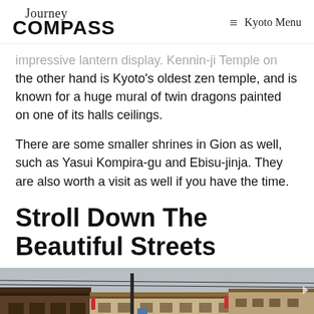Journey COMPASS | ≡ Kyoto Menu
impressive lantern display. Kennin-ji Temple on the other hand is Kyoto's oldest zen temple, and is known for a huge mural of twin dragons painted on one of its halls ceilings.
There are some smaller shrines in Gion as well, such as Yasui Kompira-gu and Ebisu-jinja. They are also worth a visit as well if you have the time.
Stroll Down The Beautiful Streets
[Figure (photo): Street scene showing traditional Japanese wooden buildings along a street in Gion, Kyoto, with pedestrians visible in the distance.]